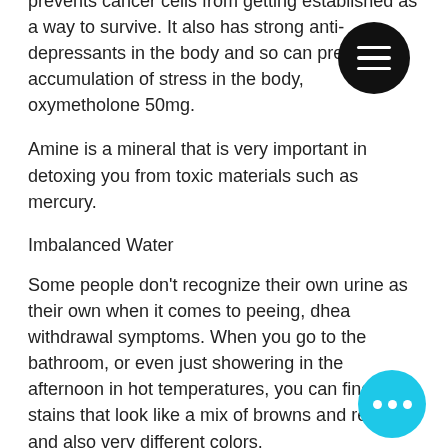prevents cancer cells from getting established as a way to survive. It also has strong anti-depressants in the body and so can prevent the accumulation of stress in the body, oxymetholone 50mg.
Amine is a mineral that is very important in detoxing you from toxic materials such as mercury.
Imbalanced Water
Some people don't recognize their own urine as their own when it comes to peeing, dhea withdrawal symptoms. When you go to the bathroom, or even just showering in the afternoon in hot temperatures, you can find urine stains that look like a mix of browns and reds and also very different colors.